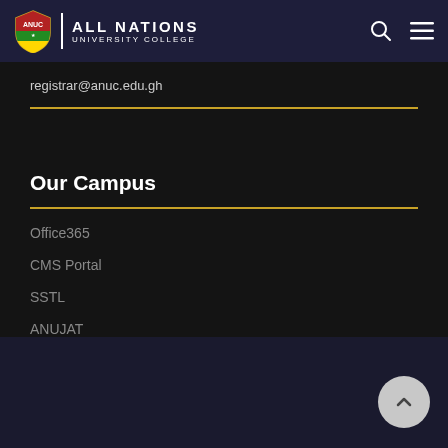ALL NATIONS UNIVERSITY COLLEGE
registrar@anuc.edu.gh
Our Campus
Office365
CMS Portal
SSTL
ANUJAT